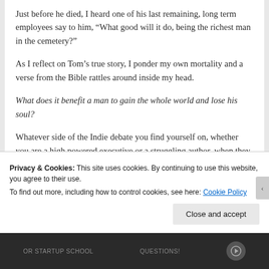Just before he died, I heard one of his last remaining, long term employees say to him, “What good will it do, being the richest man in the cemetery?”
As I reflect on Tom’s true story, I ponder my own mortality and a verse from the Bible rattles around inside my head.
What does it benefit a man to gain the whole world and lose his soul?
Whatever side of the Indie debate you find yourself on, whether you are a high powered executive or a struggling author, when they finally close your eyes for the last time,
Privacy & Cookies: This site uses cookies. By continuing to use this website, you agree to their use.
To find out more, including how to control cookies, see here: Cookie Policy